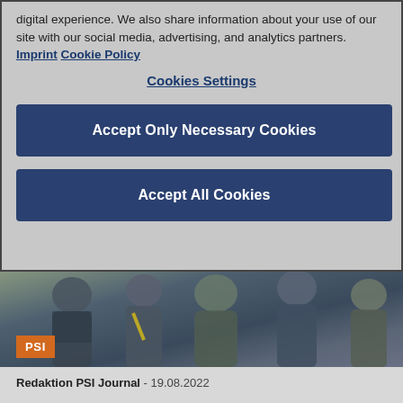digital experience. We also share information about your use of our site with our social media, advertising, and analytics partners.  Imprint  Cookie Policy
Cookies Settings
Accept Only Necessary Cookies
Accept All Cookies
[Figure (photo): Crowd of people at a trade fair/exhibition event with a PSI badge overlay in orange]
Redaktion PSI Journal - 19.08.2022
PSI 2023: Renowned exhibitors, big brands